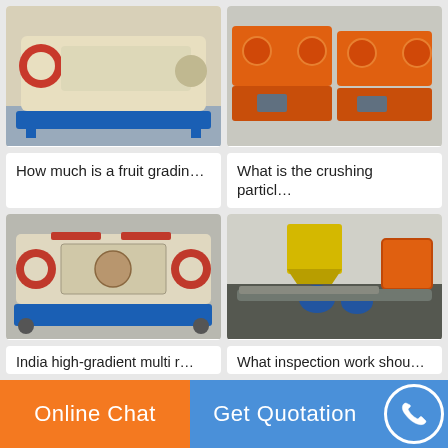[Figure (photo): Industrial fruit grading or crushing machine, cream/beige colored, on blue base frame, in outdoor setting]
[Figure (photo): Multiple orange-colored double roller crushers lined up in a factory yard]
How much is a fruit gradin…
What is the crushing particl…
[Figure (photo): India high-gradient multi roller machine, cream and red, on blue frame with wheels]
[Figure (photo): Industrial crusher machine with yellow and orange components, on dark base, in warehouse]
India high-gradient multi r…
What inspection work shou…
Online Chat
Get Quotation